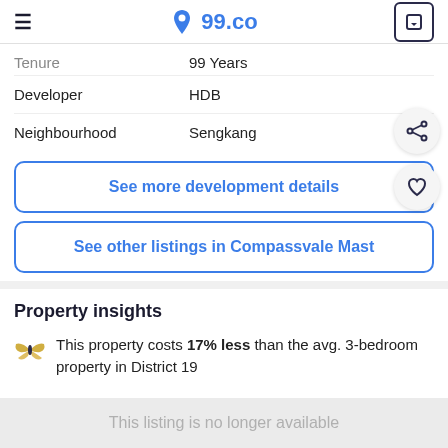99.co
Tenure: 99 Years
Developer: HDB
Neighbourhood: Sengkang
See more development details
See other listings in Compassvale Mast
Property insights
This property costs 17% less than the avg. 3-bedroom property in District 19...
This listing is no longer available